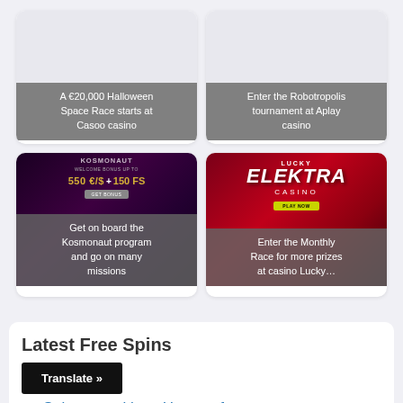[Figure (other): Card with gray placeholder image and caption: A €20,000 Halloween Space Race starts at Casoo casino]
[Figure (other): Card with gray placeholder image and caption: Enter the Robotropolis tournament at Aplay casino]
[Figure (other): Card with Kosmonaut casino promotional image showing welcome bonus 550€/$ + 150 FS, overlay text: Get on board the Kosmonaut program and go on many missions]
[Figure (other): Card with Lucky Elektra Casino promotional image, overlay text: Enter the Monthly Race for more prizes at casino Lucky...]
Latest Free Spins
Translate »
ee Spins - weekly at House of